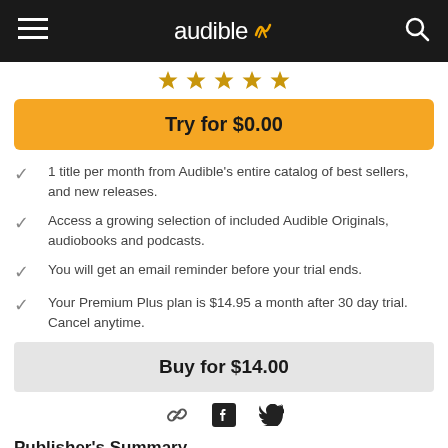audible
[Figure (illustration): Five golden bookmark/ribbon star rating icons]
Try for $0.00
1 title per month from Audible's entire catalog of best sellers, and new releases.
Access a growing selection of included Audible Originals, audiobooks and podcasts.
You will get an email reminder before your trial ends.
Your Premium Plus plan is $14.95 a month after 30 day trial. Cancel anytime.
Buy for $14.00
[Figure (illustration): Share icons: link, Facebook, Twitter]
Publisher's Summary
The New York Times best-selling author of On Dublin Street returns to the character it'll be easy with Rowena and her for our white dots